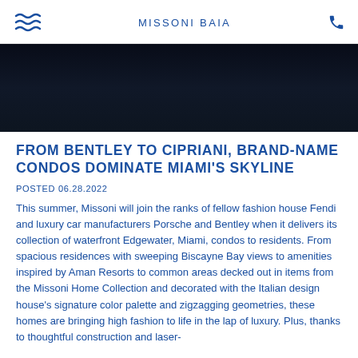MISSONI BAIA
[Figure (photo): Dark aerial or waterfront night photo, nearly black with deep navy tones]
FROM BENTLEY TO CIPRIANI, BRAND-NAME CONDOS DOMINATE MIAMI'S SKYLINE
POSTED 06.28.2022
This summer, Missoni will join the ranks of fellow fashion house Fendi and luxury car manufacturers Porsche and Bentley when it delivers its collection of waterfront Edgewater, Miami, condos to residents. From spacious residences with sweeping Biscayne Bay views to amenities inspired by Aman Resorts to common areas decked out in items from the Missoni Home Collection and decorated with the Italian design house's signature color palette and zigzagging geometries, these homes are bringing high fashion to life in the lap of luxury. Plus, thanks to thoughtful construction and laser-